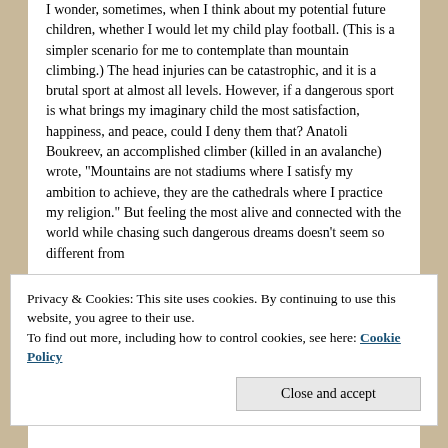I wonder, sometimes, when I think about my potential future children, whether I would let my child play football. (This is a simpler scenario for me to contemplate than mountain climbing.) The head injuries can be catastrophic, and it is a brutal sport at almost all levels. However, if a dangerous sport is what brings my imaginary child the most satisfaction, happiness, and peace, could I deny them that? Anatoli Boukreev, an accomplished climber (killed in an avalanche) wrote, "Mountains are not stadiums where I satisfy my ambition to achieve, they are the cathedrals where I practice my religion." But feeling the most alive and connected with the world while chasing such dangerous dreams doesn't seem so different from
Privacy & Cookies: This site uses cookies. By continuing to use this website, you agree to their use.
To find out more, including how to control cookies, see here: Cookie Policy